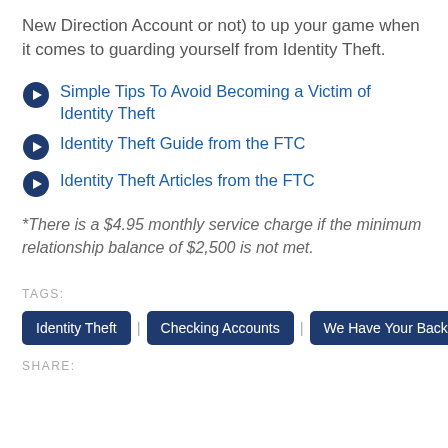New Direction Account or not) to up your game when it comes to guarding yourself from Identity Theft.
Simple Tips To Avoid Becoming a Victim of Identity Theft
Identity Theft Guide from the FTC
Identity Theft Articles from the FTC
*There is a $4.95 monthly service charge if the minimum relationship balance of $2,500 is not met.
TAGS:
Identity Theft | Checking Accounts | We Have Your Back
SHARE: